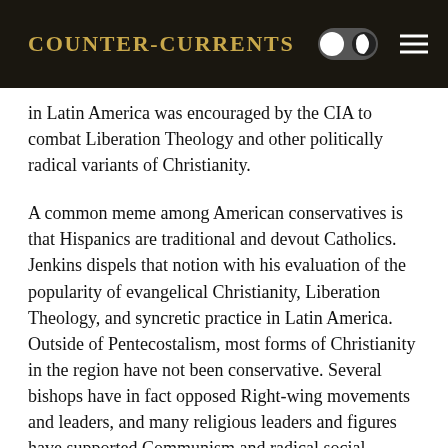Counter-Currents
in Latin America was encouraged by the CIA to combat Liberation Theology and other politically radical variants of Christianity.
A common meme among American conservatives is that Hispanics are traditional and devout Catholics. Jenkins dispels that notion with his evaluation of the popularity of evangelical Christianity, Liberation Theology, and syncretic practice in Latin America. Outside of Pentecostalism, most forms of Christianity in the region have not been conservative. Several bishops have in fact opposed Right-wing movements and leaders, and many religious leaders and figures have supported Communism and radical social reforms. The Church has tried to impose conservative bishops on Hispanics with mixed results. When this happens, too many leave the Church in favor of